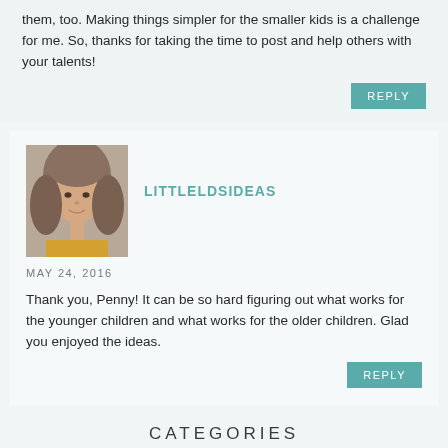them, too. Making things simpler for the smaller kids is a challenge for me. So, thanks for taking the time to post and help others with your talents!
REPLY
[Figure (photo): Profile photo of a smiling woman with long blonde/brown hair]
LITTLELDSIDEAS
MAY 24, 2016
Thank you, Penny! It can be so hard figuring out what works for the younger children and what works for the older children. Glad you enjoyed the ideas.
REPLY
CATEGORIES